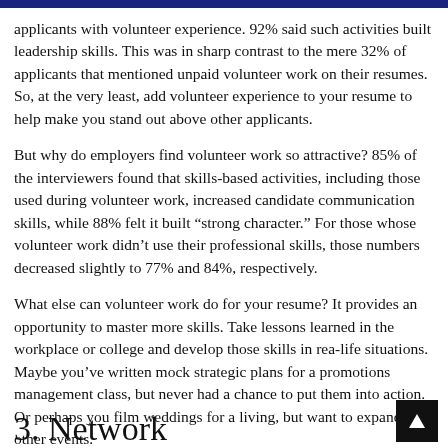applicants with volunteer experience. 92% said such activities built leadership skills. This was in sharp contrast to the mere 32% of applicants that mentioned unpaid volunteer work on their resumes. So, at the very least, add volunteer experience to your resume to help make you stand out above other applicants.
But why do employers find volunteer work so attractive? 85% of the interviewers found that skills-based activities, including those used during volunteer work, increased candidate communication skills, while 88% felt it built “strong character.” For those whose volunteer work didn’t use their professional skills, those numbers decreased slightly to 77% and 84%, respectively.
What else can volunteer work do for your resume? It provides an opportunity to master more skills. Take lessons learned in the workplace or college and develop those skills in rea-life situations. Maybe you’ve written mock strategic plans for a promotions management class, but never had a chance to put them into action. Or perhaps you film weddings for a living, but want to expand to other events.
3. Network